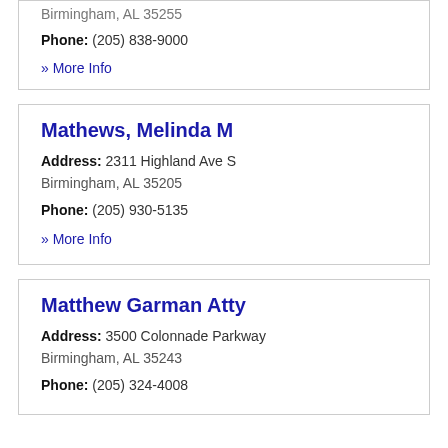Birmingham, AL 35255
Phone: (205) 838-9000
» More Info
Mathews, Melinda M
Address: 2311 Highland Ave S
Birmingham, AL 35205
Phone: (205) 930-5135
» More Info
Matthew Garman Atty
Address: 3500 Colonnade Parkway
Birmingham, AL 35243
Phone: (205) 324-4008